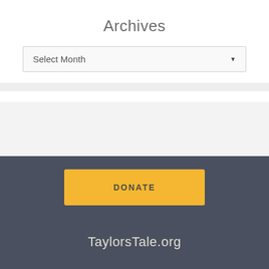Archives
Select Month
DONATE
TaylorsTale.org